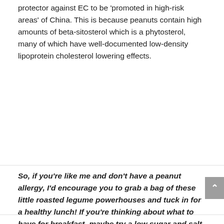protector against EC to be 'promoted in high-risk areas' of China. This is because peanuts contain high amounts of beta-sitosterol which is a phytosterol, many of which have well-documented low-density lipoprotein cholesterol lowering effects.
So, if you're like me and don't have a peanut allergy, I'd encourage you to grab a bag of these little roasted legume powerhouses and tuck in for a healthy lunch! If you're thinking about what to have for breakfast, maybe try a low sugar and salt peanut butter and if